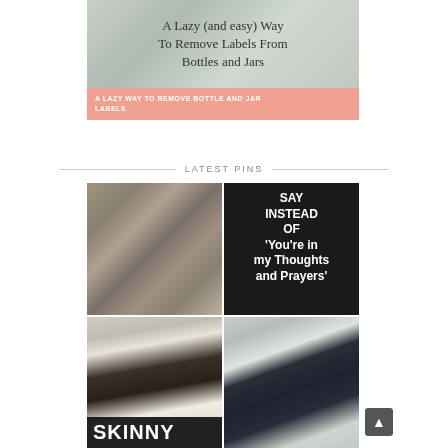[Figure (photo): Blog post card showing text overlay image about removing labels from bottles and jars, with salmon/coral colored label bar at bottom]
A LAZY WAY TO REMOVE BOTTLE AND JAR LABELS
LATEST PINS
[Figure (photo): Grid of four Pinterest pin images: cluttered room, text about alternative phrases to 'You're in my thoughts and prayers', woman wearing 'SKINNY' text overlay, and man in dark clothing]
[Figure (other): Scroll to top button with upward arrow]